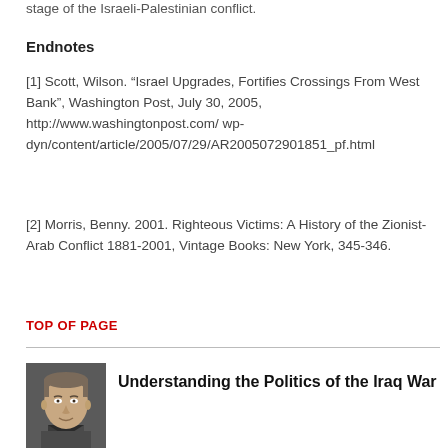stage of the Israeli-Palestinian conflict.
Endnotes
[1] Scott, Wilson. “Israel Upgrades, Fortifies Crossings From West Bank”, Washington Post, July 30, 2005, http://www.washingtonpost.com/wp-dyn/content/article/2005/07/29/AR2005072901851_pf.html
[2] Morris, Benny. 2001. Righteous Victims: A History of the Zionist-Arab Conflict 1881-2001, Vintage Books: New York, 345-346.
TOP OF PAGE
[Figure (photo): Headshot of a middle-aged man with short gray-brown hair, smiling slightly]
Understanding the Politics of the Iraq War